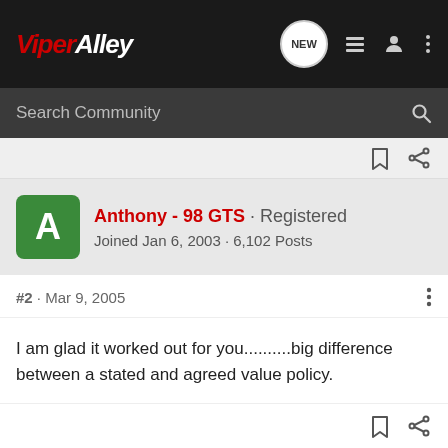ViperAlley
Search Community
Anthony - 98 GTS · Registered
Joined Jan 6, 2003 · 6,102 Posts
#2 · Mar 9, 2005
I am glad it worked out for you..........big difference between a stated and agreed value policy.